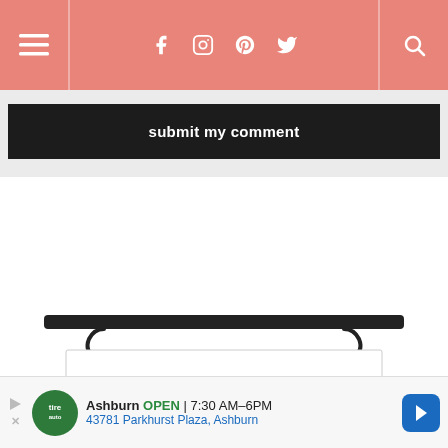Navigation bar with hamburger menu, social icons (Facebook, Instagram, Pinterest, Twitter), and search icon
[Figure (screenshot): Dark button labeled 'submit my comment' on a light gray background]
[Figure (illustration): Recipe Finder illustration showing a sign hanging from a dark bar with curved hooks, text 'RECIPE FINDER' in serif font with a steaming pot icon below]
Ashburn OPEN | 7:30 AM–6PM 43781 Parkhurst Plaza, Ashburn